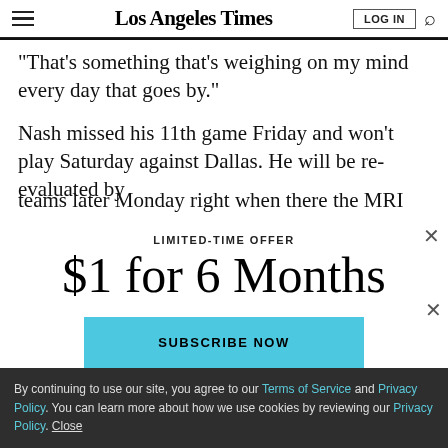Los Angeles Times
“That’s something that’s weighing on my mind every day that goes by.”
Nash missed his 11th game Friday and won’t play Saturday against Dallas. He will be re-evaluated by teams later Monday right when there the MRI
LIMITED-TIME OFFER
$1 for 6 Months
SUBSCRIBE NOW
By continuing to use our site, you agree to our Terms of Service and Privacy Policy. You can learn more about how we use cookies by reviewing our Privacy Policy. Close